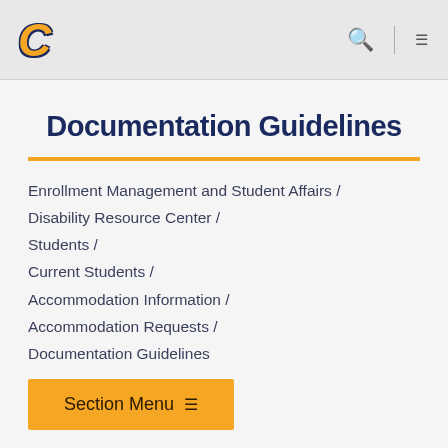C [logo] | Search | Menu
Documentation Guidelines
Enrollment Management and Student Affairs /
Disability Resource Center /
Students /
Current Students /
Accommodation Information /
Accommodation Requests /
Documentation Guidelines